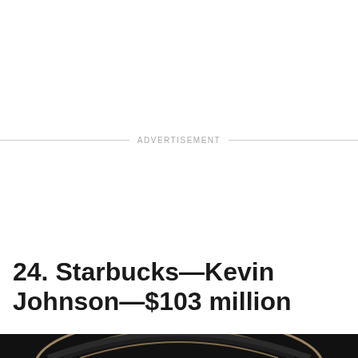ADVERTISEMENT
24. Starbucks—Kevin Johnson—$103 million
[Figure (photo): Partial photo of Starbucks logo/signage, dark background with circular elements visible at bottom of page]